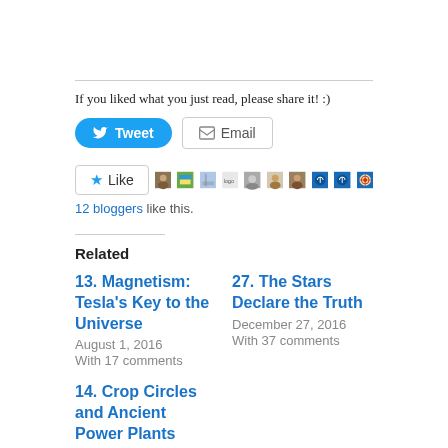If you liked what you just read, please share it! :)
[Figure (other): Tweet and Email share buttons]
[Figure (other): Like button with 12 blogger avatars]
12 bloggers like this.
Related
13. Magnetism: Tesla's Key to the Universe
August 1, 2016
With 17 comments
27. The Stars Declare the Truth
December 27, 2016
With 37 comments
14. Crop Circles and Ancient Power Plants
August 12, 2016